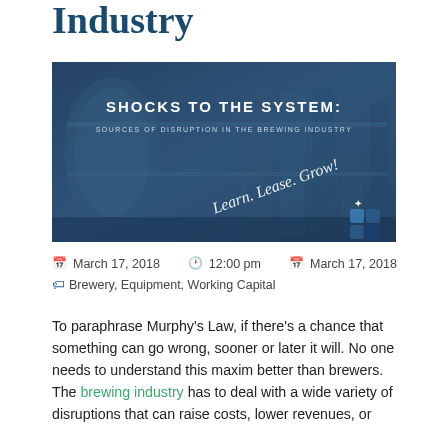Industry
[Figure (photo): Brewery industrial equipment photo with overlay text 'SHOCKS TO THE SYSTEM: SOURCES OF DISRUPTION IN THE BREWING INDUSTRY' and cursive text 'Learn. Lease. Grow!' with a logo icon in bottom right.]
March 17, 2018   12:00 pm   March 17, 2018
Brewery, Equipment, Working Capital
To paraphrase Murphy's Law, if there's a chance that something can go wrong, sooner or later it will. No one needs to understand this maxim better than brewers. The brewing industry has to deal with a wide variety of disruptions that can raise costs, lower revenues, or